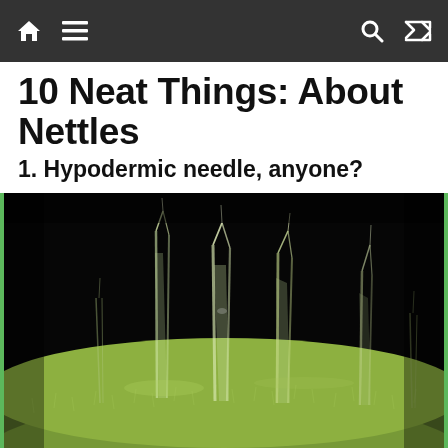navigation bar with home, menu, search, and shuffle icons
10 Neat Things: About Nettles
1. Hypodermic needle, anyone?
[Figure (photo): Close-up macro photograph of stinging nettle (Urtica) trichomes (stinging hairs) on a green stem against a black background. Several translucent needle-like hairs with sharp pointed tips are visible, resembling hypodermic needles.]